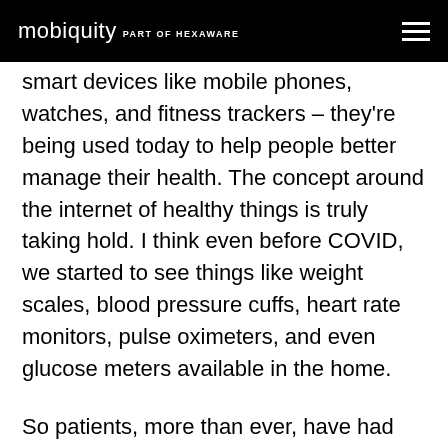mobiquity part of HEXAWARE
smart devices like mobile phones, watches, and fitness trackers – they're being used today to help people better manage their health. The concept around the internet of healthy things is truly taking hold. I think even before COVID, we started to see things like weight scales, blood pressure cuffs, heart rate monitors, pulse oximeters, and even glucose meters available in the home.
So patients, more than ever, have had access to technologies to track things like